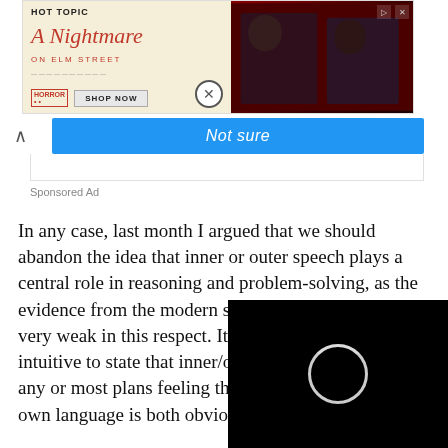[Figure (screenshot): Advertisement banner for Hot Topic featuring A Nightmare on Elm Street merchandise with 'Shop Now' button and two figures in dark clothing against a red background]
[Figure (screenshot): Blue 'Not sure' button with upward caret on left]
Sponsored Ad
In any case, last month I argued that we should abandon the idea that inner or outer speech plays a central role in reasoning and problem-solving, as the evidence from the modern study of psychology is very weak in this respect. It might be counter-intuitive to state that inner/outer speech formulating any or most plans feeling that we think, and ref in our own language is both obvious. After all, it is alway
[Figure (screenshot): Black video overlay with circular loading spinner]